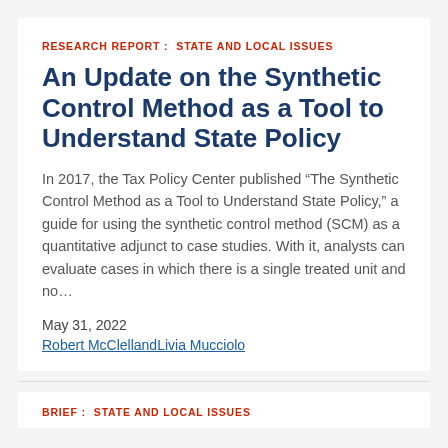RESEARCH REPORT :   STATE AND LOCAL ISSUES
An Update on the Synthetic Control Method as a Tool to Understand State Policy
In 2017, the Tax Policy Center published “The Synthetic Control Method as a Tool to Understand State Policy,” a guide for using the synthetic control method (SCM) as a quantitative adjunct to case studies. With it, analysts can evaluate cases in which there is a single treated unit and no…
May 31, 2022
Robert McClellandLivia Mucciolo
BRIEF :   STATE AND LOCAL ISSUES